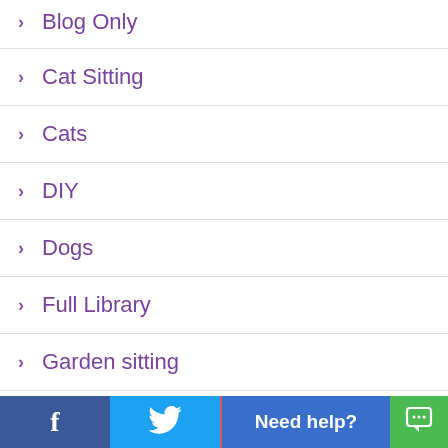Blog Only
Cat Sitting
Cats
DIY
Dogs
Full Library
Garden sitting
Gardens
General
Green Travel
Community-based tourism
f  [Twitter]  Need help?  [Chat]